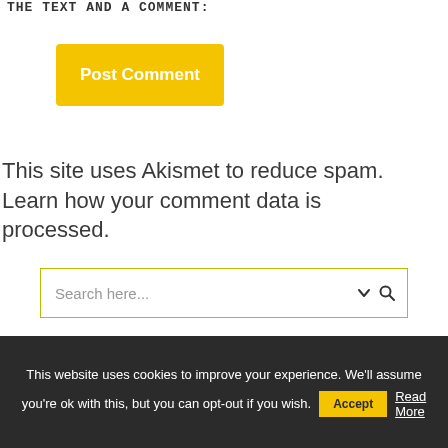...THE TEXT AND A COMMENT:
Post Comment
This site uses Akismet to reduce spam. Learn how your comment data is processed.
Search here...
This website uses cookies to improve your experience. We'll assume you're ok with this, but you can opt-out if you wish. Accept Read More